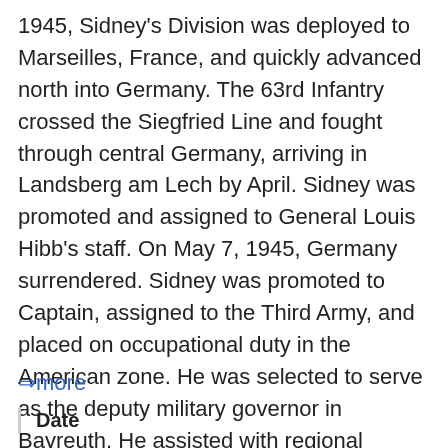1945, Sidney's Division was deployed to Marseilles, France, and quickly advanced north into Germany. The 63rd Infantry crossed the Siegfried Line and fought through central Germany, arriving in Landsberg am Lech by April. Sidney was promoted and assigned to General Louis Hibb's staff. On May 7, 1945, Germany surrendered. Sidney was promoted to Captain, assigned to the Third Army, and placed on occupational duty in the American zone. He was selected to serve as the deputy military governor in Bayreuth. He assisted with regional rebuilding efforts and with the de-Nazification program. Sidney, a lawyer by training, served as prosecutor for the U.S. military government in Bayreuth, as well as a judge, hearing approx...
⇒more
| Date |
| --- |